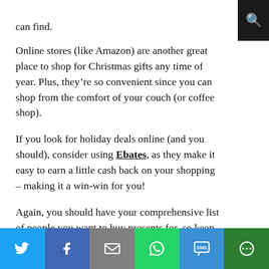can find.
Online stores (like Amazon) are another great place to shop for Christmas gifts any time of year. Plus, they're so convenient since you can shop from the comfort of your couch (or coffee shop).
If you look for holiday deals online (and you should), consider using Ebates, as they make it easy to earn a little cash back on your shopping – making it a win-win for you!
Again, you should have your comprehensive list of people you want to buy presents for, so keep it in your pocket or on your phone. Then, if you see something you know your family member or
[Social sharing bar: Twitter, Facebook, Email, WhatsApp, SMS, More]